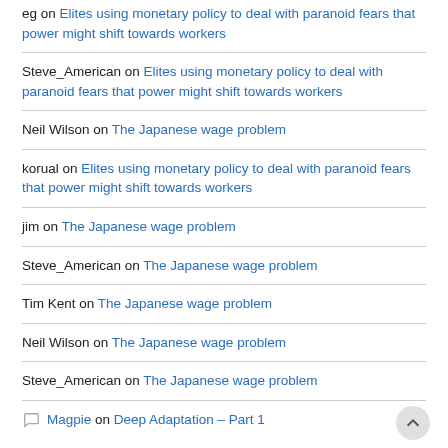eg on Elites using monetary policy to deal with paranoid fears that power might shift towards workers
Steve_American on Elites using monetary policy to deal with paranoid fears that power might shift towards workers
Neil Wilson on The Japanese wage problem
korual on Elites using monetary policy to deal with paranoid fears that power might shift towards workers
jim on The Japanese wage problem
Steve_American on The Japanese wage problem
Tim Kent on The Japanese wage problem
Neil Wilson on The Japanese wage problem
Steve_American on The Japanese wage problem
Magpie on Deep Adaptation – Part 1